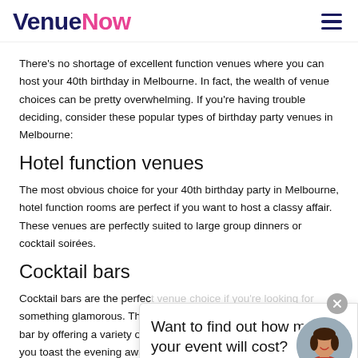VenueNow
There's no shortage of excellent function venues where you can host your 40th birthday in Melbourne. In fact, the wealth of venue choices can be pretty overwhelming. If you're having trouble deciding, consider these popular types of birthday party venues in Melbourne:
Hotel function venues
The most obvious choice for your 40th birthday party in Melbourne, hotel function rooms are perfect if you want to host a classy affair. These venues are perfectly suited to large group dinners or cocktail soirées.
Cocktail bars
Cocktail bars are the perfect venue choice if you're looking for something glamorous. They blend the best of a restaurant and bar by offering a variety of delectable bites for your guests to whilst you toast the evening away.
[Figure (infographic): Popup widget with text 'Want to find out how much your event will cost?' and a circular close button, with an avatar of a woman in a red top at bottom right with a green online indicator dot.]